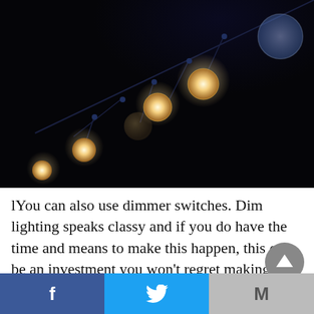[Figure (photo): String lights with globe bulbs hanging against a dark/black background. Several bulbs are glowing with warm yellow-white light.]
lYou can also use dimmer switches. Dim lighting speaks classy and if you do have the time and means to make this happen, this can be an investment you won't regret making.
Facebook | Twitter | M (email)